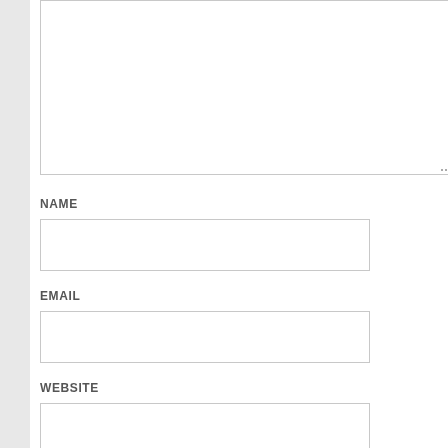[Figure (screenshot): Comment form textarea (empty, resizable) at the top of the page]
NAME
[Figure (screenshot): Name input field (empty text box)]
EMAIL
[Figure (screenshot): Email input field (empty text box)]
WEBSITE
[Figure (screenshot): Website input field (empty text box)]
POST COMMENT